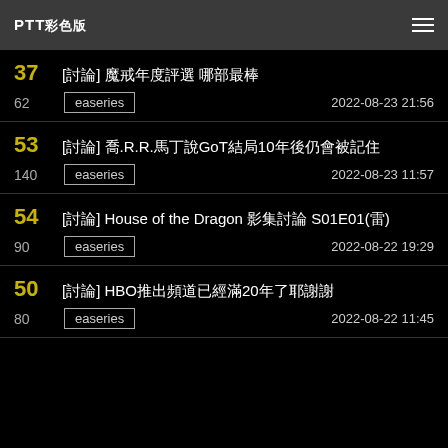PTT彩色版
37 [討論] 魔戒年度評選 哪部最棒
62 easeries 2022-08-23 21:56
53 [討論] 喬.R.R.馬丁說GoT結局10年後仍會被記住
140 easeries 2022-08-23 11:57
54 [討論] House of the Dragon 影集討論 S01E01(雷)
90 easeries 2022-08-22 19:29
50 [討論] HBO推出頻道已經滿20年了耶謝謝
80 easeries 2022-08-22 11:45